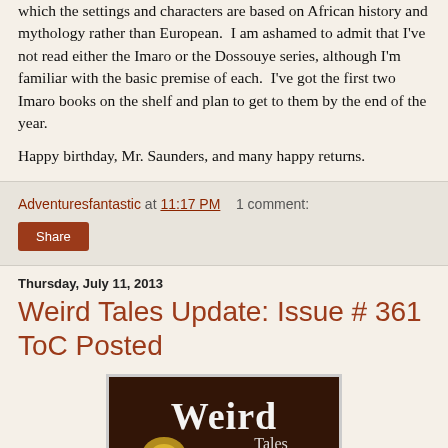which the settings and characters are based on African history and mythology rather than European. I am ashamed to admit that I've not read either the Imaro or the Dossouye series, although I'm familiar with the basic premise of each. I've got the first two Imaro books on the shelf and plan to get to them by the end of the year.
Happy birthday, Mr. Saunders, and many happy returns.
Adventuresfantastic at 11:17 PM   1 comment:
Share
Thursday, July 11, 2013
Weird Tales Update: Issue # 361 ToC Posted
[Figure (photo): Weird Tales magazine logo/cover image with stylized white text on dark brown background with yellow/golden decorative element]